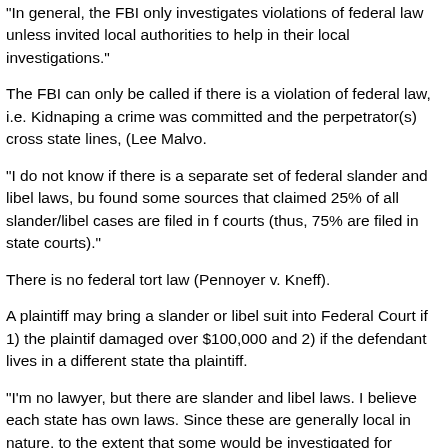"In general, the FBI only investigates violations of federal law unless invited local authorities to help in their local investigations."
The FBI can only be called if there is a violation of federal law, i.e. Kidnaping a crime was committed and the perpetrator(s) cross state lines, (Lee Malvo.
"I do not know if there is a separate set of federal slander and libel laws, bu found some sources that claimed 25% of all slander/libel cases are filed in f courts (thus, 75% are filed in state courts)."
There is no federal tort law (Pennoyer v. Kneff).
A plaintiff may bring a slander or libel suit into Federal Court if 1) the plaintif damaged over $100,000 and 2) if the defendant lives in a different state tha plaintiff.
"I'm no lawyer, but there are slander and libel laws. I believe each state has own laws. Since these are generally local in nature, to the extent that some would be investigated for suspicion of slandering or libeling someone, this w be investigated by local authorities."
Slander and Libel are common law torts. It is not a criminal act to libel or sla someone.
It is also substantially protected by the 1st Amendment of the Constitution.
The Supreme Court made it hard for a "public person" to sue someone for li